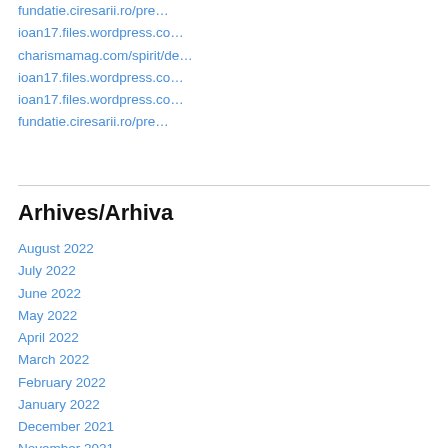fundatie.ciresarii.ro/pre…
ioan17.files.wordpress.co…
charismamag.com/spirit/de…
ioan17.files.wordpress.co…
ioan17.files.wordpress.co…
fundatie.ciresarii.ro/pre…
Arhives/Arhiva
August 2022
July 2022
June 2022
May 2022
April 2022
March 2022
February 2022
January 2022
December 2021
November 2021